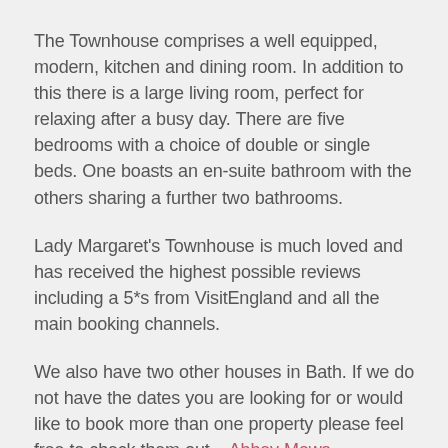The Townhouse comprises a well equipped, modern, kitchen and dining room. In addition to this there is a large living room, perfect for relaxing after a busy day. There are five bedrooms with a choice of double or single beds. One boasts an en-suite bathroom with the others sharing a further two bathrooms.
Lady Margaret's Townhouse is much loved and has received the highest possible reviews including a 5*s from VisitEngland and all the main booking channels.
We also have two other houses in Bath. If we do not have the dates you are looking for or would like to book more than one property please feel free to check them out – Abbey Mews Townhouse and The Paragon Townhouse.